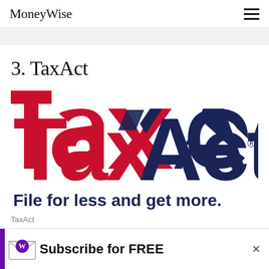MoneyWise
3. TaxAct
[Figure (logo): TaxAct logo: 'Tax' in red bold letters, 'Act' in dark navy bold letters, with a red and navy X accent. Tagline below: 'File for less and get more.' in dark navy bold sans-serif.]
TaxAct
[Figure (infographic): Advertisement banner: purple vertical bar on left, envelope icon with W monogram, text 'Subscribe for FREE', X close button.]